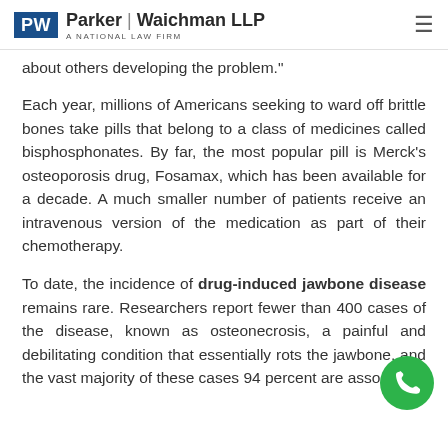Parker | Waichman LLP — A NATIONAL LAW FIRM
about others developing the problem."
Each year, millions of Americans seeking to ward off brittle bones take pills that belong to a class of medicines called bisphosphonates. By far, the most popular pill is Merck's osteoporosis drug, Fosamax, which has been available for a decade. A much smaller number of patients receive an intravenous version of the medication as part of their chemotherapy.
To date, the incidence of drug-induced jawbone disease remains rare. Researchers report fewer than 400 cases of the disease, known as osteonecrosis, a painful and debilitating condition that essentially rots the jawbone, and the vast majority of these cases 94 percent are associated